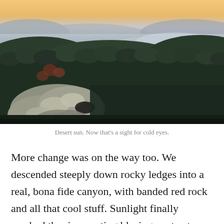[Figure (photo): Aerial/elevated view of a desert landscape at dusk or dawn. Foreground shows lichen-covered rocky outcroppings and dark evergreen forest. Background reveals a wide valley or basin with hazy light on the horizon under an orange-pink sky.]
Desert sun. Now that’s a sight for cold eyes.
More change was on the way too. We descended steeply down rocky ledges into a real, bona fide canyon, with banded red rock and all that cool stuff. Sunlight finally reached the rim creating blazing contrast between the